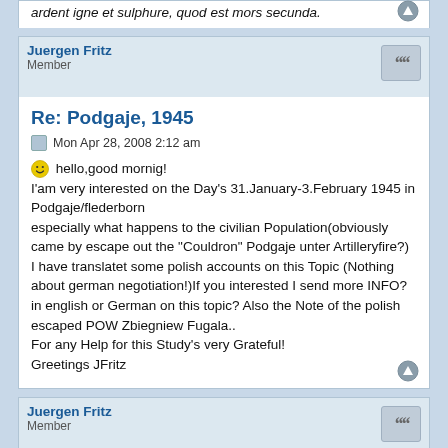ardent igne et sulphure, quod est mors secunda.
Juergen Fritz
Member
Re: Podgaje, 1945
Mon Apr 28, 2008 2:12 am
hello,good mornig!
I'am very interested on the Day's 31.January-3.February 1945 in Podgaje/flederborn
especially what happens to the civilian Population(obviously came by escape out the "Couldron" Podgaje unter Artilleryfire?)
I have translatet some polish accounts on this Topic (Nothing about german negotiation!)If you interested I send more INFO?
in english or German on this topic? Also the Note of the polish escaped POW Zbiegniew Fugala..
For any Help for this Study's very Grateful!
Greetings JFritz
Juergen Fritz
Member
Re: Podgaje, 1945
Tue Apr 29, 2008 2:49 am